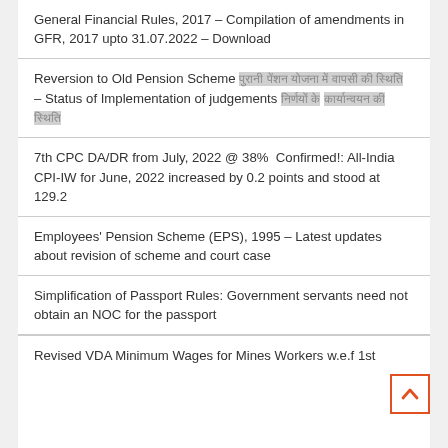General Financial Rules, 2017 – Compilation of amendments in GFR, 2017 upto 31.07.2022 – Download
Reversion to Old Pension Scheme [Hindi text] – Status of Implementation of judgements [Hindi text]
7th CPC DA/DR from July, 2022 @ 38% Confirmed!: All-India CPI-IW for June, 2022 increased by 0.2 points and stood at 129.2
Employees' Pension Scheme (EPS), 1995 – Latest updates about revision of scheme and court case
Simplification of Passport Rules: Government servants need not obtain an NOC for the passport
Revised VDA Minimum Wages for Mines Workers w.e.f 1st